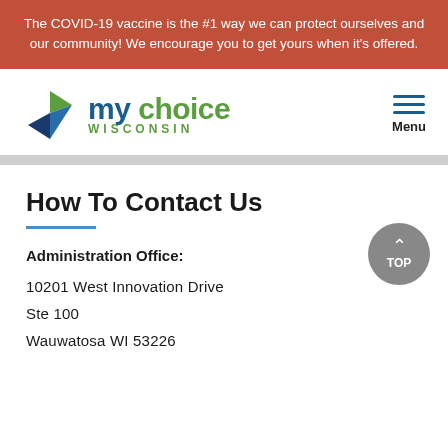The COVID-19 vaccine is the #1 way we can protect ourselves and our community! We encourage you to get yours when it's offered.
[Figure (logo): My Choice Wisconsin logo with green and blue leaf/arrow icon and text 'my choice WISCONSIN']
How To Contact Us
Administration Office:
10201 West Innovation Drive
Ste 100
Wauwatosa WI 53226